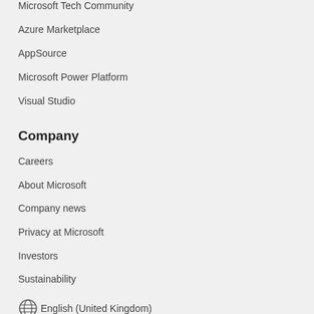Microsoft Tech Community
Azure Marketplace
AppSource
Microsoft Power Platform
Visual Studio
Company
Careers
About Microsoft
Company news
Privacy at Microsoft
Investors
Sustainability
English (United Kingdom)